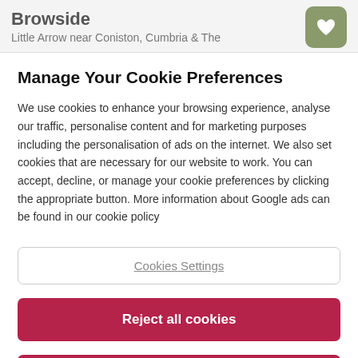Browside
Little Arrow near Coniston, Cumbria & The
Manage Your Cookie Preferences
We use cookies to enhance your browsing experience, analyse our traffic, personalise content and for marketing purposes including the personalisation of ads on the internet. We also set cookies that are necessary for our website to work. You can accept, decline, or manage your cookie preferences by clicking the appropriate button. More information about Google ads can be found in our cookie policy
Cookies Settings
Reject all cookies
Accept all cookies